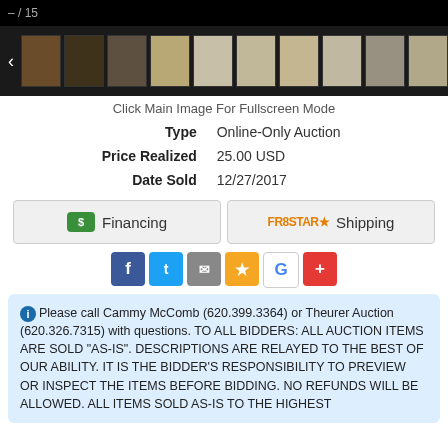[Figure (screenshot): Top navigation bar showing '– / 15' counter on black background, with a row of 12 small thumbnail images of auction items (dishes, glassware, furniture) with left and right navigation arrows]
Click Main Image For Fullscreen Mode
Type    Online-Only Auction
Price Realized    25.00 USD
Date Sold    12/27/2017
[Figure (screenshot): Two buttons: Financing (with green dollar icon) and Shipping (with FreStar logo)]
[Figure (screenshot): Social share icons row: Facebook, Twitter, Email, Star/Bookmark, Google, Plus]
Please call Cammy McComb (620.399.3364) or Theurer Auction (620.326.7315) with questions. TO ALL BIDDERS: ALL AUCTION ITEMS ARE SOLD "AS-IS". DESCRIPTIONS ARE RELAYED TO THE BEST OF OUR ABILITY. IT IS THE BIDDER'S RESPONSIBILITY TO PREVIEW OR INSPECT THE ITEMS BEFORE BIDDING. NO REFUNDS WILL BE ALLOWED. ALL ITEMS SOLD AS-IS TO THE HIGHEST